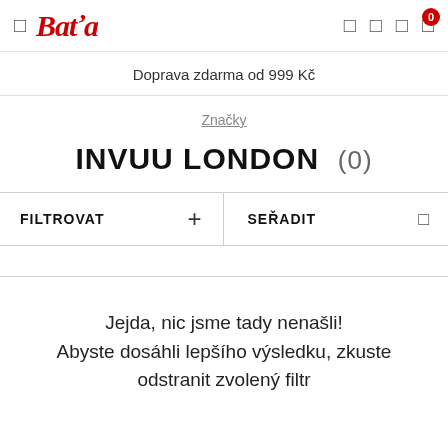Baťa — Doprava zdarma od 999 Kč
Značky
INVUU LONDON (0)
FILTROVAT   SEŘADIT
Jejda, nic jsme tady nenašli! Abyste dosáhli lepšího výsledku, zkuste odstranit zvolený filtr